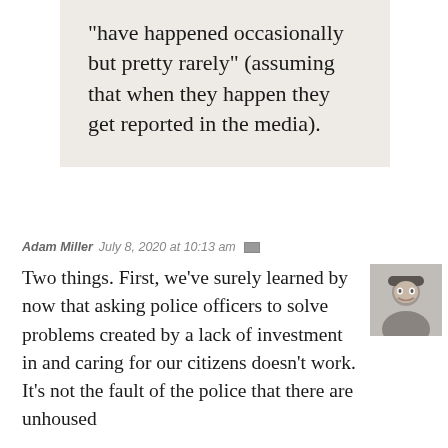“have happened occasionally but pretty rarely” (assuming that when they happen they get reported in the media).
Adam Miller  July 8, 2020 at 10:13 am
Two things. First, we’ve surely learned by now that asking police officers to solve problems created by a lack of investment in and caring for our citizens doesn’t work. It’s not the fault of the police that there are unhoused
[Figure (photo): Small square avatar photo of Adam Miller, a man wearing glasses and a cap, smiling]